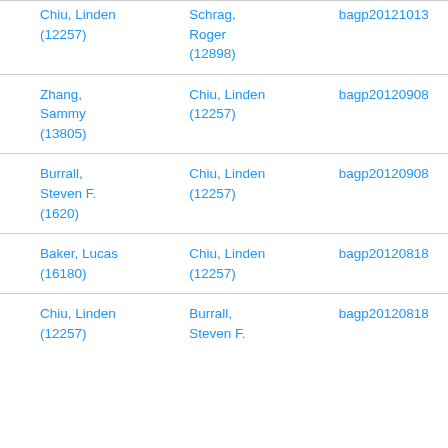| Chiu, Linden (12257) | Schrag, Roger (12898) | bagp20121013 |
| Zhang, Sammy (13805) | Chiu, Linden (12257) | bagp20120908 |
| Burrall, Steven F. (1620) | Chiu, Linden (12257) | bagp20120908 |
| Baker, Lucas (16180) | Chiu, Linden (12257) | bagp20120818 |
| Chiu, Linden (12257) | Burrall, Steven F. | bagp20120818 |